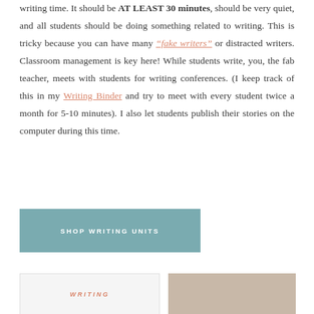writing time. It should be AT LEAST 30 minutes, should be very quiet, and all students should be doing something related to writing. This is tricky because you can have many "fake writers" or distracted writers. Classroom management is key here! While students write, you, the fab teacher, meets with students for writing conferences. (I keep track of this in my Writing Binder and try to meet with every student twice a month for 5-10 minutes). I also let students publish their stories on the computer during this time.
[Figure (other): Button: SHOP WRITING UNITS on teal/sage background]
[Figure (other): Bottom left partial image with italic text WRITING in salmon color on light background]
[Figure (photo): Bottom right partial photo of a person]